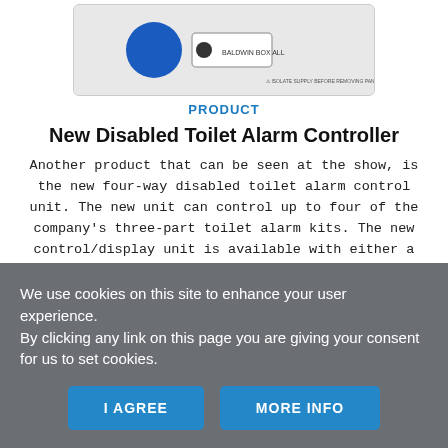[Figure (photo): Photo of a disabled toilet alarm controller unit — a white panel with a large blue circular button and a rectangular indicator, with 'BALDWIN BOX ALL' branding and a warning label.]
PRODUCT
New Disabled Toilet Alarm Controller
Another product that can be seen at the show, is the new four-way disabled toilet alarm control unit. The new unit can control up to four of the company's three-part toilet alarm kits. The new control/display unit is available with either a white or stainless steel finish – to match with the toilet alarm prod...
We use cookies on this site to enhance your user experience.
By clicking any link on this page you are giving your consent for us to set cookies.
I AGREE
MORE INFO